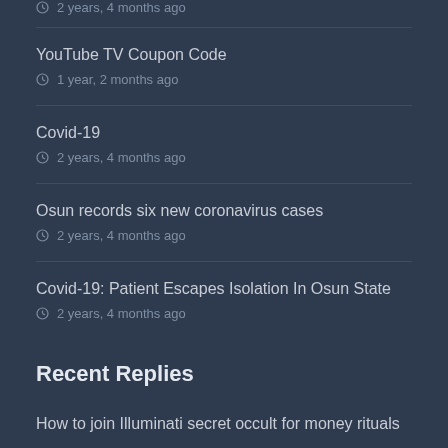2 years, 4 months ago
YouTube TV Coupon Code
1 year, 2 months ago
Covid-19
2 years, 4 months ago
Osun records six new coronavirus cases
2 years, 4 months ago
Covid-19: Patient Escapes Isolation In Osun State
2 years, 4 months ago
Recent Replies
How to join Illuminati secret occult for money rituals
((+2349022188692)) 1 week, 4 days ago